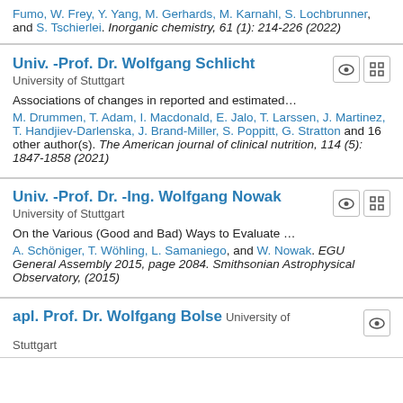Fumo, W. Frey, Y. Yang, M. Gerhards, M. Karnahl, S. Lochbrunner, and S. Tschierlei. Inorganic chemistry, 61 (1): 214-226 (2022)
Univ. -Prof. Dr. Wolfgang Schlicht
University of Stuttgart
Associations of changes in reported and estimated…
M. Drummen, T. Adam, I. Macdonald, E. Jalo, T. Larssen, J. Martinez, T. Handjiev-Darlenska, J. Brand-Miller, S. Poppitt, G. Stratton and 16 other author(s). The American journal of clinical nutrition, 114 (5): 1847-1858 (2021)
Univ. -Prof. Dr. -Ing. Wolfgang Nowak
University of Stuttgart
On the Various (Good and Bad) Ways to Evaluate …
A. Schöniger, T. Wöhling, L. Samaniego, and W. Nowak. EGU General Assembly 2015, page 2084. Smithsonian Astrophysical Observatory, (2015)
apl. Prof. Dr. Wolfgang Bolse
University of Stuttgart